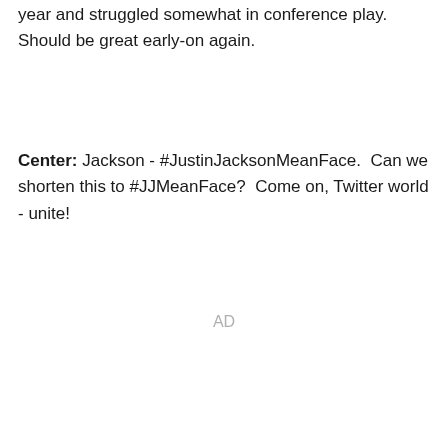year and struggled somewhat in conference play. Should be great early-on again.
Center: Jackson - #JustinJacksonMeanFace.  Can we shorten this to #JJMeanFace?  Come on, Twitter world - unite!
AD